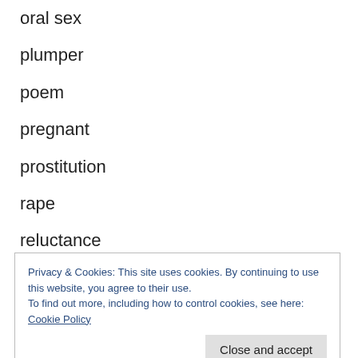oral sex
plumper
poem
pregnant
prostitution
rape
reluctance
romance
Privacy & Cookies: This site uses cookies. By continuing to use this website, you agree to their use.
To find out more, including how to control cookies, see here: Cookie Policy